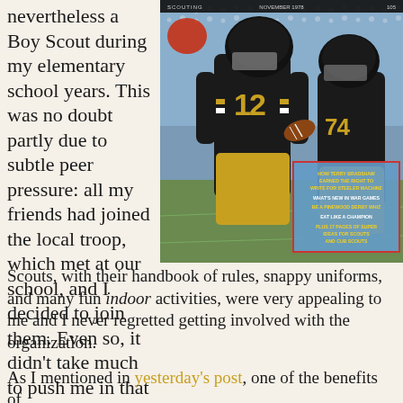nevertheless a Boy Scout during my elementary school years. This was no doubt partly due to subtle peer pressure: all my friends had joined the local troop, which met at our school, and I decided to join them. Even so, it didn't take much to push me in that direction. The Scouts, with their handbook of rules, snappy uniforms, and many fun indoor activities, were very appealing to me and I never regretted getting involved with the organization.
[Figure (photo): Magazine cover showing football players, Pittsburgh Steelers, with player #12 (Terry Bradshaw) prominent. Overlay box with text about Steelers.]
As I mentioned in yesterday's post, one of the benefits of